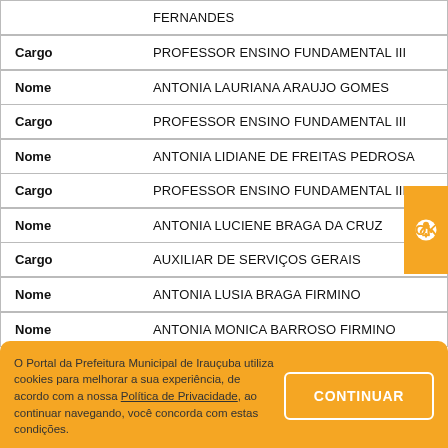| Label | Value |
| --- | --- |
|  | FERNANDES |
| Cargo | PROFESSOR ENSINO FUNDAMENTAL III |
| Nome | ANTONIA LAURIANA ARAUJO GOMES |
| Cargo | PROFESSOR ENSINO FUNDAMENTAL III |
| Nome | ANTONIA LIDIANE DE FREITAS PEDROSA |
| Cargo | PROFESSOR ENSINO FUNDAMENTAL III |
| Nome | ANTONIA LUCIENE BRAGA DA CRUZ |
| Cargo | AUXILIAR DE SERVIÇOS GERAIS |
| Nome | ANTONIA LUSIA BRAGA FIRMINO |
| Nome | ANTONIA MONICA BARROSO FIRMINO |
O Portal da Prefeitura Municipal de Irauçuba utiliza cookies para melhorar a sua experiência, de acordo com a nossa Política de Privacidade, ao continuar navegando, você concorda com estas condições.